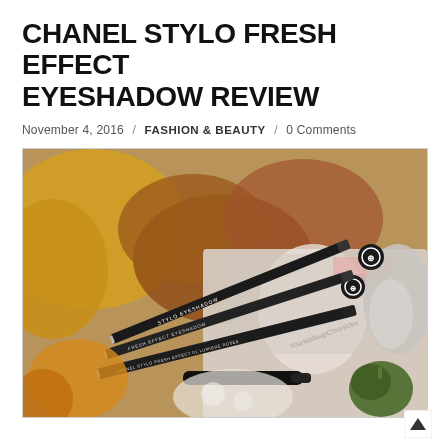CHANEL STYLO FRESH EFFECT EYESHADOW REVIEW
November 4, 2016 / FASHION & BEAUTY / 0 Comments
[Figure (photo): Chanel Stylo Fresh Effect Eyeshadow pencils photographed on a bed of autumn leaves and a magazine page, with small decorative gourds. Three eyeshadow pencils shown from above with Chanel logo caps visible.]